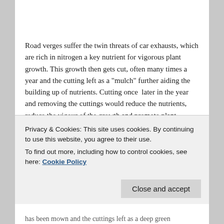Road verges suffer the twin threats of car exhausts, which are rich in nitrogen a key nutrient for vigorous plant growth. This growth then gets cut, often many times a year and the cutting left as a "mulch" further aiding the building up of nutrients. Cutting once  later in the year and removing the cuttings would reduce the nutrients, reduce the vigour of the growth and promote plant diversity. In fact Plantlife have just produced an excellent guide to managing road verges The Good Verge Guide
The Highways Agency also produced quiet good guidelines for highways managers, but these do not seem
Privacy & Cookies: This site uses cookies. By continuing to use this website, you agree to their use.
To find out more, including how to control cookies, see here: Cookie Policy
has been mown and the cuttings left as a deep green